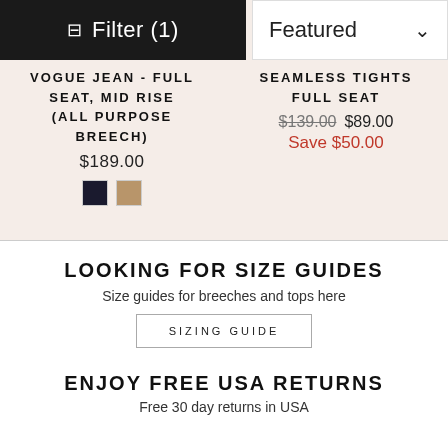Filter (1)
Featured
VOGUE JEAN - FULL SEAT, MID RISE (ALL PURPOSE BREECH)
$189.00
SEAMLESS TIGHTS FULL SEAT
$139.00 $89.00 Save $50.00
LOOKING FOR SIZE GUIDES
Size guides for breeches and tops here
SIZING GUIDE
ENJOY FREE USA RETURNS
Free 30 day returns in USA